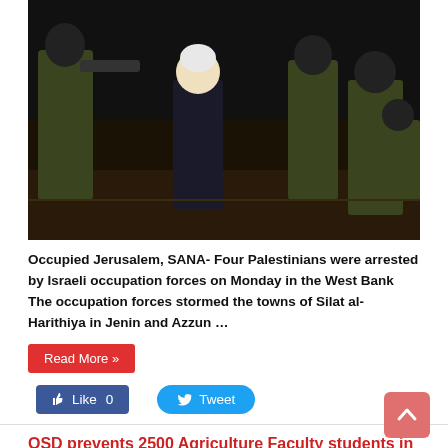[Figure (photo): Nighttime photo of Israeli occupation forces arresting a Palestinian man in the West Bank]
Occupied Jerusalem, SANA- Four Palestinians were arrested by Israeli occupation forces on Monday in the West Bank The occupation forces stormed the towns of Silat al-Harithiya in Jenin and Azzun …
Read More »
Like 0   Tweet
QSD prevents 2500 Agriculture Faculty students in